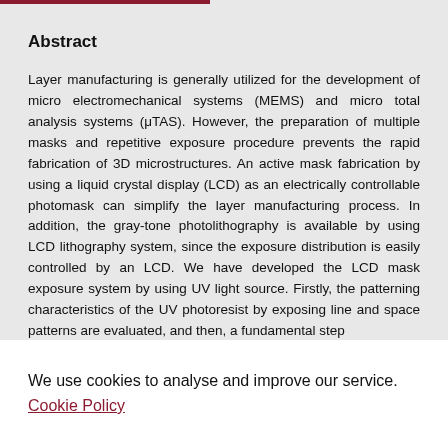Abstract
Layer manufacturing is generally utilized for the development of micro electromechanical systems (MEMS) and micro total analysis systems (μTAS). However, the preparation of multiple masks and repetitive exposure procedure prevents the rapid fabrication of 3D microstructures. An active mask fabrication by using a liquid crystal display (LCD) as an electrically controllable photomask can simplify the layer manufacturing process. In addition, the gray-tone photolithography is available by using LCD lithography system, since the exposure distribution is easily controlled by an LCD. We have developed the LCD mask exposure system by using UV light source. Firstly, the patterning characteristics of the UV photoresist by exposing line and space patterns are evaluated, and then, a fundamental step
We use cookies to analyse and improve our service. Cookie Policy